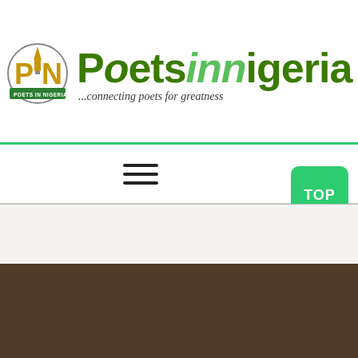[Figure (logo): Poets In Nigeria circular logo with a golden pen nib and PIN text]
Poetsinnigeria
...connecting poets for greatness
[Figure (other): Hamburger menu icon (three horizontal lines)]
[Figure (other): Green TOP button in bottom right corner]
[Figure (photo): Partial photo strip at the bottom of the page, dark brownish tones]